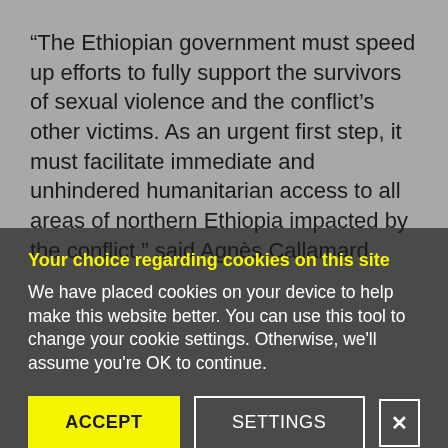“The Ethiopian government must speed up efforts to fully support the survivors of sexual violence and the conflict’s other victims. As an urgent first step, it must facilitate immediate and unhindered humanitarian access to all areas of northern Ethiopia impacted by the conflict,” said Agnès Callamard.
Your choice regarding cookies on this site
We have placed cookies on your device to help make this website better. You can use this tool to change your cookie settings. Otherwise, we'll assume you're OK to continue.